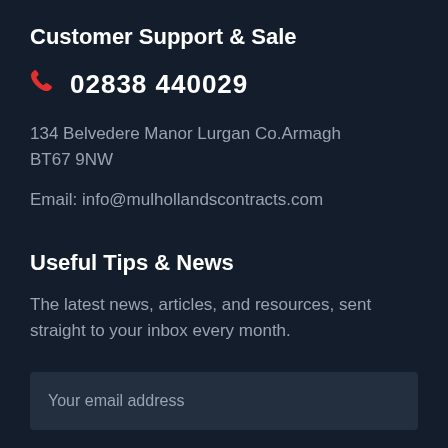Customer Support & Sale
02838 440029
134 Belvedere Manor Lurgan Co.Armagh BT67 9NW
Email: info@mulhollandscontracts.com
Useful Tips & News
The latest news, articles, and resources, sent straight to your inbox every month.
Your email address